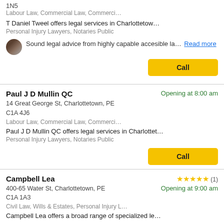1N5
Labour Law, Commercial Law, Commerci…
T Daniel Tweel offers legal services in Charlottetow…
Personal Injury Lawyers, Notaries Public
Sound legal advice from highly capable accesible la… Read more
Call
Paul J D Mullin QC
Opening at 8:00 am
14 Great George St, Charlottetown, PE C1A 4J6
Labour Law, Commercial Law, Commerci…
Paul J D Mullin QC offers legal services in Charlottet…
Personal Injury Lawyers, Notaries Public
Call
Campbell Lea
★★★★★ (1)
Opening at 9:00 am
400-65 Water St, Charlottetown, PE C1A 1A3
Civil Law, Wills & Estates, Personal Injury L…
Campbell Lea offers a broad range of specialized le…